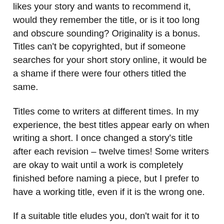likes your story and wants to recommend it, would they remember the title, or is it too long and obscure sounding? Originality is a bonus. Titles can't be copyrighted, but if someone searches for your short story online, it would be a shame if there were four others titled the same.
Titles come to writers at different times. In my experience, the best titles appear early on when writing a short. I once changed a story's title after each revision – twelve times! Some writers are okay to wait until a work is completely finished before naming a piece, but I prefer to have a working title, even if it is the wrong one.
If a suitable title eludes you, don't wait for it to magically appear – ask other writers and mentors for suggestions. Objectivity can muddle up titling the same way it can revisions. You don't want to sit on a fantastic piece of fiction just because you're not convinced you have the best title. Submit your work, an editor may suggest something better.